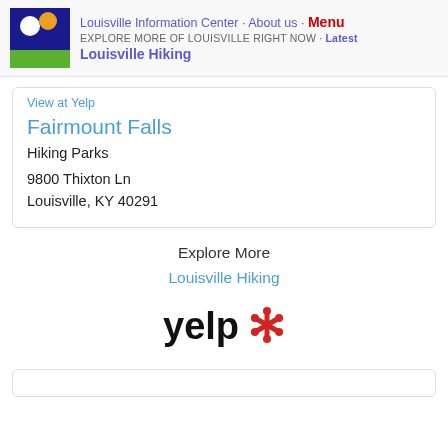Louisville Information Center · About us · Menu
EXPLORE MORE OF LOUISVILLE RIGHT NOW · Latest
Louisville Hiking
View at Yelp
Fairmount Falls
Hiking Parks
9800 Thixton Ln
Louisville, KY 40291
Explore More
Louisville Hiking
[Figure (logo): Yelp logo — black 'yelp' text with red asterisk/burst icon]